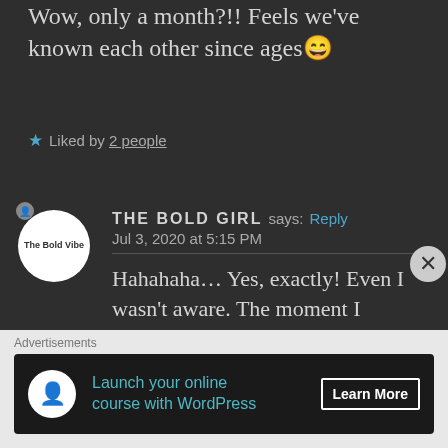Wow, only a month?!! Feels we've known each other since ages😄
★ Liked by 2 people
THE BOLD GIRL says: Reply
Jul 3, 2020 at 5:15 PM
Hahahaha… Yes, exactly! Even I wasn't aware. The moment I checked the post to pick the questions, that's when I saw the date.😊
Advertisements
Launch your online course with WordPress
Learn More